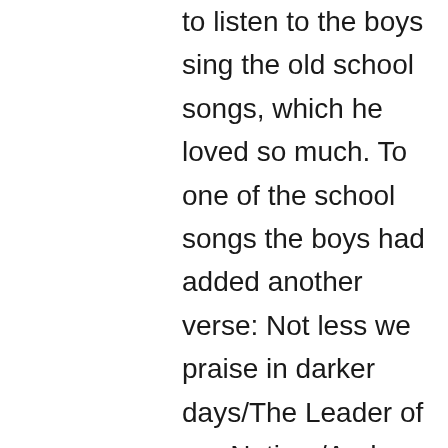to listen to the boys sing the old school songs, which he loved so much. To one of the school songs the boys had added another verse: Not less we praise in darker days/The Leader of our Nation,/And Churchill's